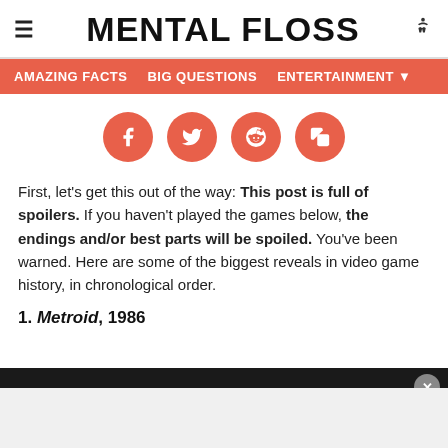MENTAL FLOSS
AMAZING FACTS  BIG QUESTIONS  ENTERTAINMENT
[Figure (infographic): Four social share buttons (Facebook, Twitter, Reddit, Copy) as salmon/coral colored circles with white icons]
First, let's get this out of the way: This post is full of spoilers. If you haven't played the games below, the endings and/or best parts will be spoiled. You've been warned. Here are some of the biggest reveals in video game history, in chronological order.
1. Metroid, 1986
[Figure (screenshot): Dark advertisement bar at the bottom with a close (x) button and a light gray content area below]